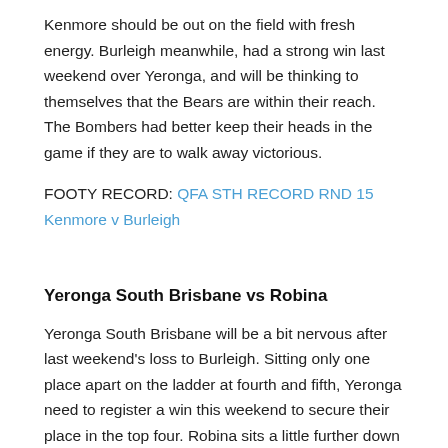Kenmore should be out on the field with fresh energy. Burleigh meanwhile, had a strong win last weekend over Yeronga, and will be thinking to themselves that the Bears are within their reach. The Bombers had better keep their heads in the game if they are to walk away victorious.
FOOTY RECORD: QFA STH RECORD RND 15 Kenmore v Burleigh
Yeronga South Brisbane vs Robina
Yeronga South Brisbane will be a bit nervous after last weekend's loss to Burleigh. Sitting only one place apart on the ladder at fourth and fifth, Yeronga need to register a win this weekend to secure their place in the top four. Robina sits a little further down the ladder at sixth place, but following a win over Alexandra Hills last